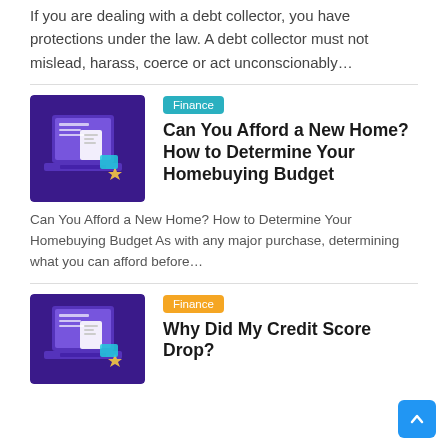If you are dealing with a debt collector, you have protections under the law. A debt collector must not mislead, harass, coerce or act unconscionably…
[Figure (illustration): Purple illustrated image of a laptop with documents and financial icons]
Finance
Can You Afford a New Home? How to Determine Your Homebuying Budget
Can You Afford a New Home? How to Determine Your Homebuying Budget As with any major purchase, determining what you can afford before…
[Figure (illustration): Purple illustrated image of a laptop with documents and financial icons]
Finance
Why Did My Credit Score Drop?